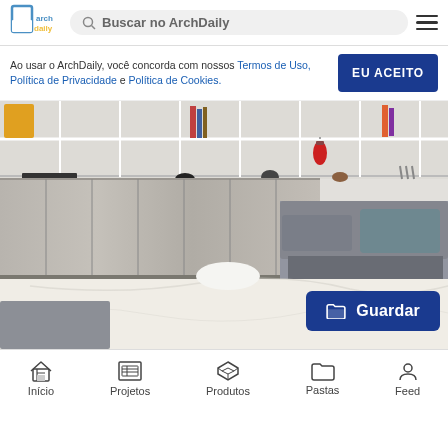[Figure (screenshot): ArchDaily website header with logo, search bar reading 'Buscar no ArchDaily', and hamburger menu icon]
Ao usar o ArchDaily, você concorda com nossos Termos de Uso, Política de Privacidade e Política de Cookies.
EU ACEITO
[Figure (photo): Interior room photo showing a modern living space with white shelving unit, concrete-look cabinet base, grey sofa with cushions, and marble floor in foreground. A red lantern, figurines, and books are on the cabinet top.]
Guardar
Início   Projetos   Produtos   Pastas   Feed